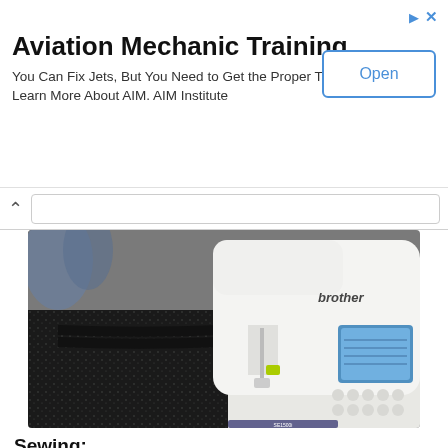[Figure (screenshot): Advertisement banner for Aviation Mechanic Training from AIM Institute with an Open button]
Aviation Mechanic Training
You Can Fix Jets, But You Need to Get the Proper Training First. Learn More About AIM. AIM Institute
[Figure (photo): A Brother sewing machine sewing black sparkly fabric with a black strap/ribbon on a white table]
Sewing: